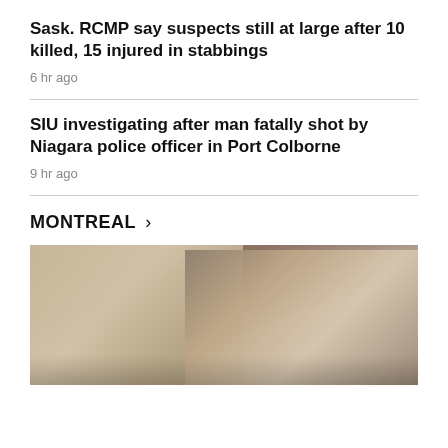Sask. RCMP say suspects still at large after 10 killed, 15 injured in stabbings
6 hr ago
SIU investigating after man fatally shot by Niagara police officer in Port Colborne
9 hr ago
MONTREAL >
[Figure (photo): Photo of a smiling man in foreground with a large billboard poster of a smiling face in the background, outdoors, news context]